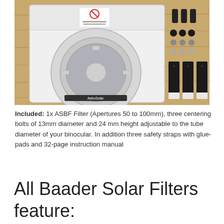[Figure (photo): Product photo showing an open white circular box labeled AstroSolar containing a solar filter, with hardware components (black clips, screws/bolts, washers) and three black velcro straps with white tips arranged on a wooden surface beside the box.]
Included: 1x ASBF Filter (Apertures 50 to 100mm), three centering bolts of 13mm diameter and 24 mm height adjustable to the tube diameter of your binocular. In addition three safety straps with glue-pads and 32-page instruction manual
All Baader Solar Filters feature: